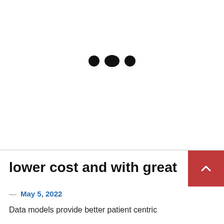[Figure (other): Loading spinner dots — three black oval/circle dots centered on the page upper half]
lower cost and with great
— May 5, 2022
Data models provide better patient centric